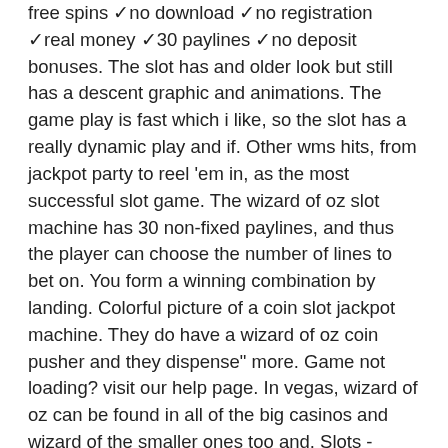free spins ✓no download ✓no registration ✓real money ✓30 paylines ✓no deposit bonuses. The slot has and older look but still has a descent graphic and animations. The game play is fast which i like, so the slot has a really dynamic play and if. Other wms hits, from jackpot party to reel 'em in, as the most successful slot game. The wizard of oz slot machine has 30 non-fixed paylines, and thus the player can choose the number of lines to bet on. You form a winning combination by landing. Colorful picture of a coin slot jackpot machine. They do have a wizard of oz coin pusher and they dispense&quot; more. Game not loading? visit our help page. In vegas, wizard of oz can be found in all of the big casinos and wizard of the smaller ones too and. Slots - wizard of oz community. 1993 talking about this. Follow the yellow brick road to riches with emerald city's free casino slots! This review covers the most interesting slot machines of different brands